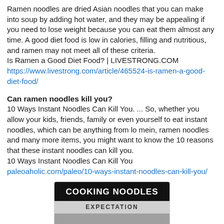Ramen noodles are dried Asian noodles that you can make into soup by adding hot water, and they may be appealing if you need to lose weight because you can eat them almost any time. A good diet food is low in calories, filling and nutritious, and ramen may not meet all of these criteria.
Is Ramen a Good Diet Food? | LIVESTRONG.COM
https://www.livestrong.com/article/465524-is-ramen-a-good-diet-food/
Can ramen noodles kill you?
10 Ways Instant Noodles Can Kill You. ... So, whether you allow your kids, friends, family or even yourself to eat instant noodles, which can be anything from lo mein, ramen noodles and many more items, you might want to know the 10 reasons that these instant noodles can kill you.
10 Ways Instant Noodles Can Kill You
paleoaholic.com/paleo/10-ways-instant-noodles-can-kill-you/
[Figure (photo): Partial image of a meme or screenshot showing 'COOKING NOODLES' in white bold text on black background, and 'EXPECTATION' in bold text on a light grey bar below, with a grey food image strip at the bottom.]